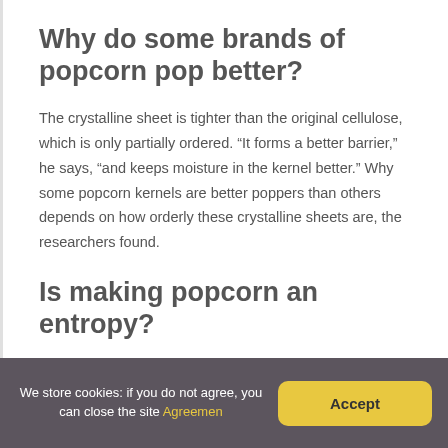Why do some brands of popcorn pop better?
The crystalline sheet is tighter than the original cellulose, which is only partially ordered. “It forms a better barrier,” he says, “and keeps moisture in the kernel better.” Why some popcorn kernels are better poppers than others depends on how orderly these crystalline sheets are, the researchers found.
Is making popcorn an entropy?
We store cookies: if you do not agree, you can close the site Agreemen